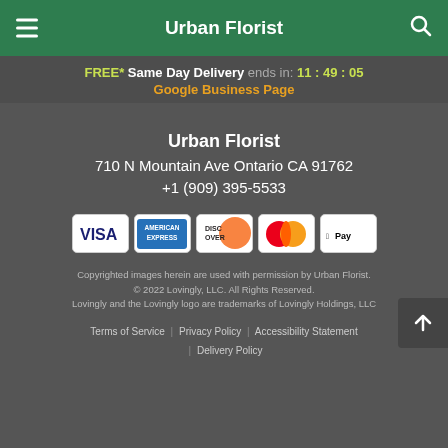Urban Florist
FREE* Same Day Delivery ends in: 11 : 49 : 05
Google Business Page
Urban Florist
710 N Mountain Ave Ontario CA 91762
+1 (909) 395-5533
[Figure (other): Payment method icons: Visa, American Express, Discover, Mastercard, Apple Pay]
Copyrighted images herein are used with permission by Urban Florist. © 2022 Lovingly, LLC. All Rights Reserved. Lovingly and the Lovingly logo are trademarks of Lovingly Holdings, LLC
Terms of Service | Privacy Policy | Accessibility Statement | Delivery Policy